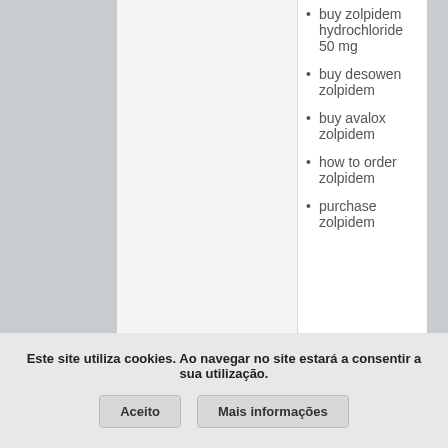buy zolpidem hydrochloride 50 mg
buy desowen zolpidem
buy avalox zolpidem
how to order zolpidem
purchase zolpidem
Este site utiliza cookies. Ao navegar no site estará a consentir a sua utilização.